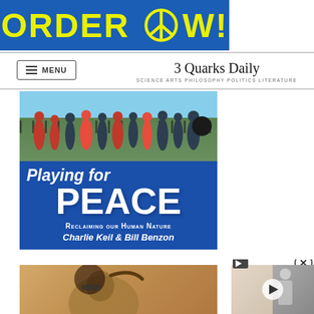[Figure (other): Banner advertisement with blue background showing 'ORDER NOW!' text in yellow with a peace symbol, for a book about Playing for Peace]
[Figure (other): 3 Quarks Daily website header with menu button and site logo. Subtitle reads: SCIENCE ARTS PHILOSOPHY POLITICS LITERATURE]
[Figure (other): Book cover for 'Playing for Peace: Reclaiming Our Human Nature' by Charlie Keil & Bill Benzon. Shows marching band/musicians at top and a dancer at bottom on blue background.]
[Figure (other): Partial video overlay panel visible on right side with play button and close button]